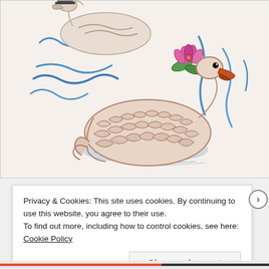[Figure (illustration): A child's pencil/crayon drawing on cream paper showing ducks or birds on water. A large duck with detailed feather scales sits on blue-shaded water in the center-lower area. Above and behind it is a lighter bird (possibly a goose or swan). Blue wavy lines represent water/waves. A pink lotus/water lily flower with green leaves is in the upper right area. The drawing uses colored pencils with reddish-brown, blue, and pink tones.]
Privacy & Cookies: This site uses cookies. By continuing to use this website, you agree to their use.
To find out more, including how to control cookies, see here: Cookie Policy
Close and accept